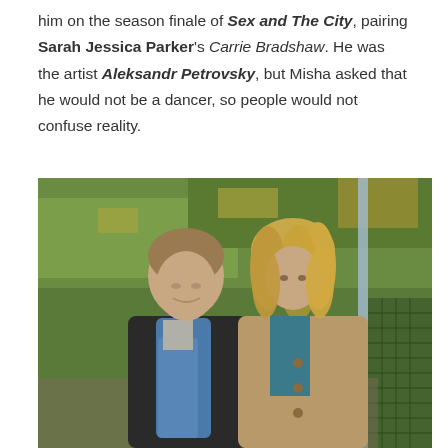him on the season finale of Sex and The City, pairing Sarah Jessica Parker's Carrie Bradshaw. He was the artist Aleksandr Petrovsky, but Misha asked that he would not be a dancer, so people would not confuse reality.
[Figure (photo): A man and a woman walking together outdoors in a park-like setting. The man has short brown hair and wears a dark blazer with a blue scarf. The woman has long wavy blonde hair and wears a trench coat over a teal top. There is a green fence visible on the right side and grass with autumn leaves in the background.]